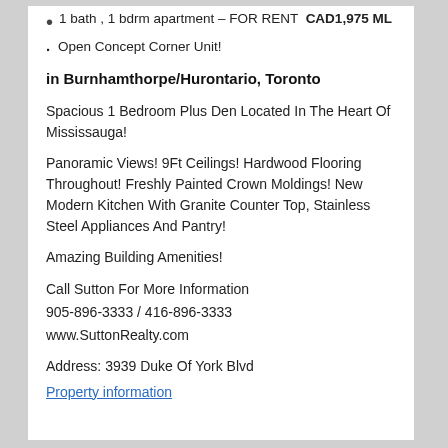1 bath , 1 bdrm apartment – FOR RENT  CAD1,975 ML
. Open Concept Corner Unit!
in Burnhamthorpe/Hurontario, Toronto
Spacious 1 Bedroom Plus Den Located In The Heart Of Mississauga!
Panoramic Views! 9Ft Ceilings! Hardwood Flooring Throughout! Freshly Painted Crown Moldings! New Modern Kitchen With Granite Counter Top, Stainless Steel Appliances And Pantry!
Amazing Building Amenities!
Call Sutton For More Information
905-896-3333 / 416-896-3333
www.SuttonRealty.com
Address: 3939 Duke Of York Blvd
Property information